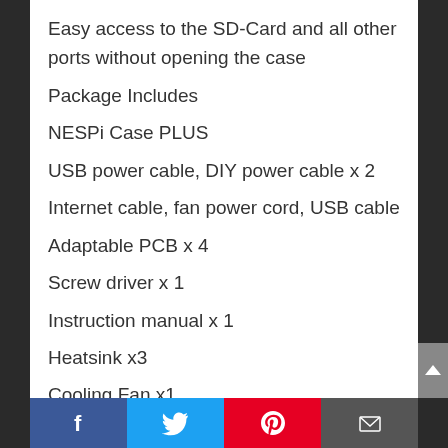Easy access to the SD-Card and all other ports without opening the case
Package Includes
NESPi Case PLUS
USB power cable, DIY power cable x 2
Internet cable, fan power cord, USB cable
Adaptable PCB x 4
Screw driver x 1
Instruction manual x 1
Heatsink x3
Cooling Fan x1
Flannel Bag x1
2. Retroflag NESPi Case+ Plus with USB Wired Game Controller &
Facebook Twitter Pinterest Email